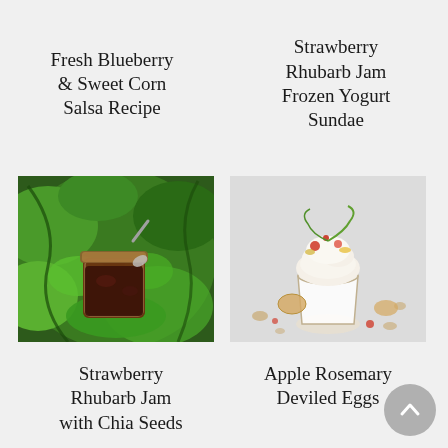Fresh Blueberry & Sweet Corn Salsa Recipe
Strawberry Rhubarb Jam Frozen Yogurt Sundae
[Figure (photo): A glass jar of dark reddish-brown jam sitting on green moss in a lush garden setting, with a spoon resting on top]
[Figure (photo): A glass cup filled with frozen yogurt sundae topped with colorful fruit and garnishes, on a light gray background with scattered nuts and berries]
Strawberry Rhubarb Jam with Chia Seeds
Apple Rosemary Deviled Eggs